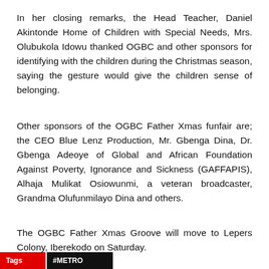In her closing remarks, the Head Teacher, Daniel Akintonde Home of Children with Special Needs, Mrs. Olubukola Idowu thanked OGBC and other sponsors for identifying with the children during the Christmas season, saying the gesture would give the children sense of belonging.
Other sponsors of the OGBC Father Xmas funfair are; the CEO Blue Lenz Production, Mr. Gbenga Dina, Dr. Gbenga Adeoye of Global and African Foundation Against Poverty, Ignorance and Sickness (GAFFAPIS), Alhaja Mulikat Osiowunmi, a veteran broadcaster, Grandma Olufunmilayo Dina and others.
The OGBC Father Xmas Groove will move to Lepers Colony, Iberekodo on Saturday.
Tags  #METRO